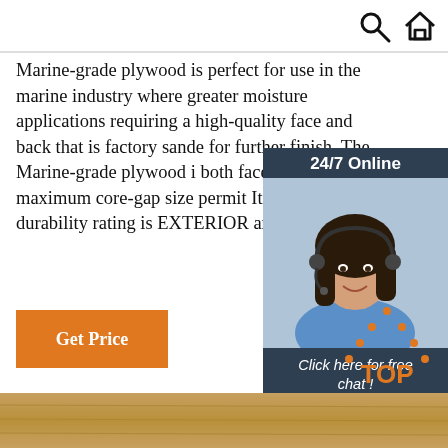Search | Home icons nav bar
Marine-grade plywood is perfect for use in the marine industry where greater moisture applications requiring a high-quality face and back that is factory sanded for further finish. The Marine-grade plywood is both faces. The maximum core-gap size permitted Its exposure durability rating is EXTERIOR and
[Figure (infographic): Customer service widget with 24/7 Online label, photo of woman with headset, 'Click here for free chat!' text, and orange QUOTATION button]
[Figure (infographic): Orange TOP icon with dotted triangle above the text TOP]
[Figure (photo): Bottom strip showing plywood texture in brown/tan color]